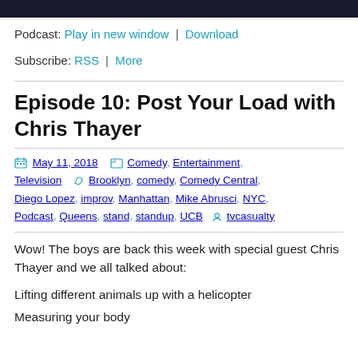Podcast: Play in new window | Download
Subscribe: RSS | More
Episode 10: Post Your Load with Chris Thayer
May 11, 2018  Comedy, Entertainment, Television  Brooklyn, comedy, Comedy Central, Diego Lopez, improv, Manhattan, Mike Abrusci, NYC, Podcast, Queens, stand, standup, UCB  tvcasualty
Wow! The boys are back this week with special guest Chris Thayer and we all talked about:
Lifting different animals up with a helicopter
Measuring your body